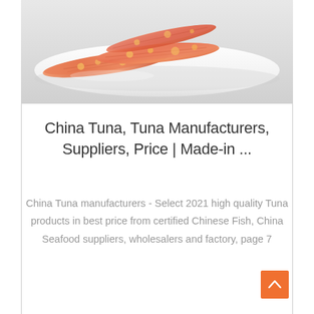[Figure (photo): Photo of tuna fish food product — dried/cured tuna strips on a white plate, salmon-orange color]
China Tuna, Tuna Manufacturers, Suppliers, Price | Made-in ...
China Tuna manufacturers - Select 2021 high quality Tuna products in best price from certified Chinese Fish, China Seafood suppliers, wholesalers and factory, page 7